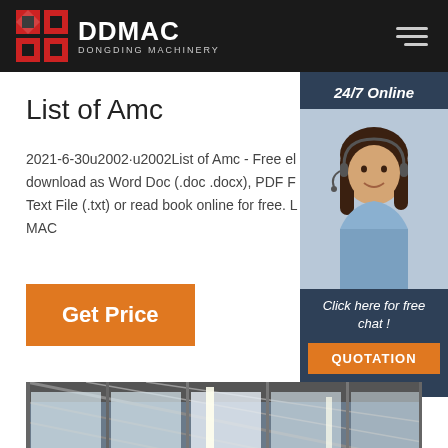DDMAC DONGDING MACHINERY
List of Amc
2021-6-30u2002·u2002List of Amc - Free el download as Word Doc (.doc .docx), PDF F Text File (.txt) or read book online for free. L MAC
[Figure (other): Orange 'Get Price' button]
[Figure (photo): Customer service representative with headset, sidebar with '24/7 Online' header and 'Click here for free chat!' text and orange QUOTATION button]
[Figure (photo): Industrial warehouse/factory interior with steel roof structure and blue machinery]